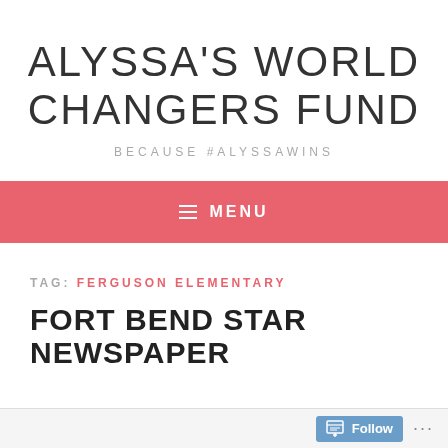ALYSSA'S WORLD CHANGERS FUND
BECAUSE #ALYSSAWINS
≡ MENU
TAG: FERGUSON ELEMENTARY
FORT BEND STAR NEWSPAPER
Follow ...